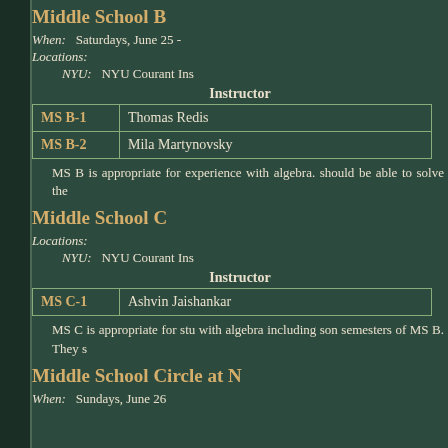Middle School B
When: Saturdays, June 25 -
Locations:
NYU: NYU Courant Ins
|  | Instructor |
| --- | --- |
| MS B-1 | Thomas Redis |
| MS B-2 | Mila Martynovsky |
MS B is appropriate for experience with algebra. should be able to solve the
Middle School C
Locations:
NYU: NYU Courant Ins
|  | Instructor |
| --- | --- |
| MS C-1 | Ashvin Jaishankar |
MS C is appropriate for stu with algebra including son semesters of MS B. They s
Middle School Circle at N
When: Sundays, June 26